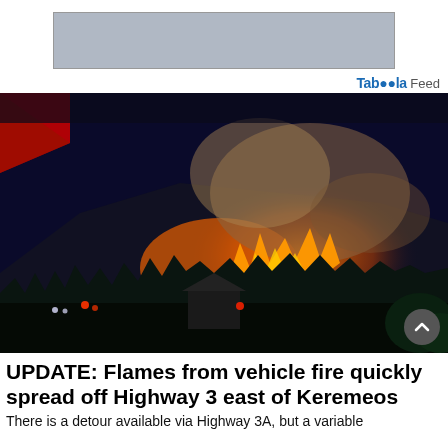[Figure (other): Advertisement banner placeholder (gray rectangle)]
Taboola Feed
[Figure (photo): Nighttime wildfire photo showing large orange flames and smoke rising from a forested hillside east of Keremeos, with silhouettes of trees, a small building, and emergency vehicle lights visible in the foreground.]
UPDATE: Flames from vehicle fire quickly spread off Highway 3 east of Keremeos
There is a detour available via Highway 3A, but a variable